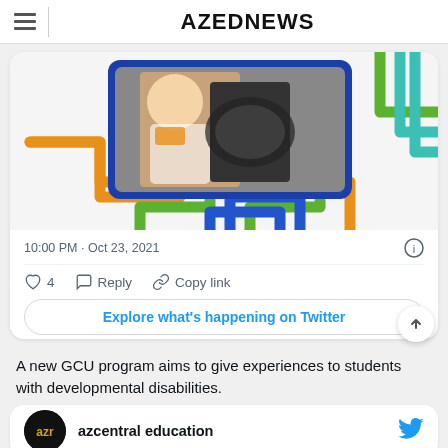AZEDNEWS
[Figure (screenshot): Tweet card showing a woman in a safety vest waving from inside a vehicle/bus cab, with colorful route-map style graphic overlay (orange, green, teal, blue lines). Timestamp: 10:00 PM · Oct 23, 2021. Actions: heart (4), Reply, Copy link. Button: Explore what's happening on Twitter]
A new GCU program aims to give experiences to students with developmental disabilities.
[Figure (screenshot): Bottom of a Twitter card showing azcentral education account avatar (dark circle with 'azr' text) and account name, with Twitter bird icon on the right]